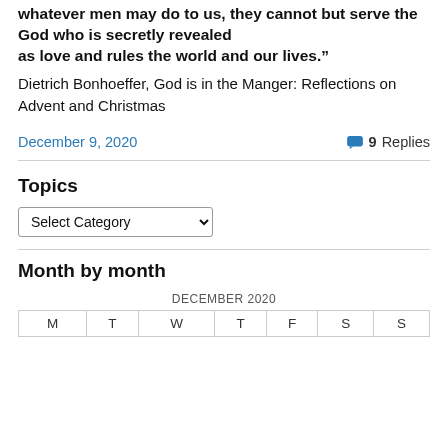whatever men may do to us, they cannot but serve the God who is secretly revealed as love and rules the world and our lives."
Dietrich Bonhoeffer, God is in the Manger: Reflections on Advent and Christmas
December 9, 2020
9 Replies
Topics
Select Category
Month by month
DECEMBER 2020
| M | T | W | T | F | S | S |
| --- | --- | --- | --- | --- | --- | --- |